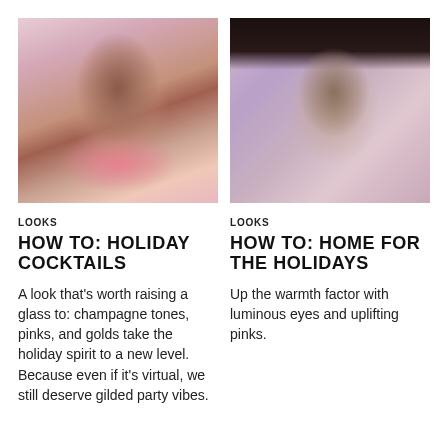[Figure (photo): Close-up portrait of a woman with dark lips and champagne/pink tones, wearing a pink fluffy top]
[Figure (photo): Close-up portrait of an Asian woman with blunt bangs, against a lavender/pink background]
LOOKS
HOW TO: HOLIDAY COCKTAILS
A look that's worth raising a glass to: champagne tones, pinks, and golds take the holiday spirit to a new level. Because even if it's virtual, we still deserve gilded party vibes.
LOOKS
HOW TO: HOME FOR THE HOLIDAYS
Up the warmth factor with luminous eyes and uplifting pinks.